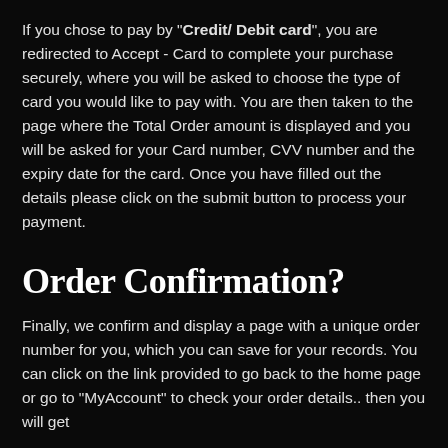If you chose to pay by "Credit/ Debit card", you are redirected to Accept - Card to complete your purchase securely, where you will be asked to choose the type of card you would like to pay with. You are then taken to the page where the Total Order amount is displayed and you will be asked for your Card number, CVV number and the expiry date for the card. Once you have filled out the details please click on the submit button to process your payment.
Order Confirmation?
Finally, we confirm and display a page with a unique order number for you, which you can save for your records. You can click on the link provided to go back to the home page or go to "MyAccount" to check your order details.. then you will get